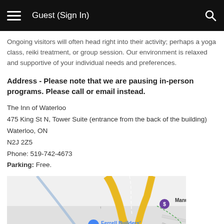Guest (Sign In)
Ongoing visitors will often head right into their activity; perhaps a yoga class, reiki treatment, or group session. Our environment is relaxed and supportive of your individual needs and preferences.
Address - Please note that we are pausing in-person programs. Please call or email instead.
The Inn of Waterloo
475 King St N, Tower Suite (entrance from the back of the building)
Waterloo, ON
N2J 2Z5
Phone: 519-742-4673
Parking: Free.
[Figure (map): Google Maps screenshot showing the area around The Inn of Waterloo at 475 King St N, Waterloo, ON. Shows roads, Ferrell Builders' Supply LTD, Manulife Bank, and a pink label for The Inn of Waterloo.]